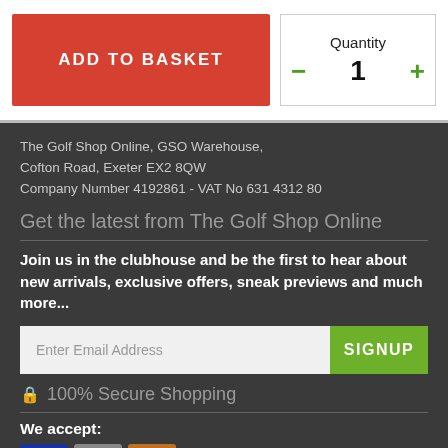ADD TO BASKET
Quantity
- 1 +
The Golf Shop Online, GSO Warehouse, Cofton Road, Exeter EX2 8QW
Company Number 4192861 - VAT No 631 4312 80
Get the latest from The Golf Shop Online
Join us in the clubhouse and be the first to hear about new arrivals, exclusive offers, sneak previews and much more...
Enter Email Address
SIGNUP
🔒 100% Secure Shopping
We accept: